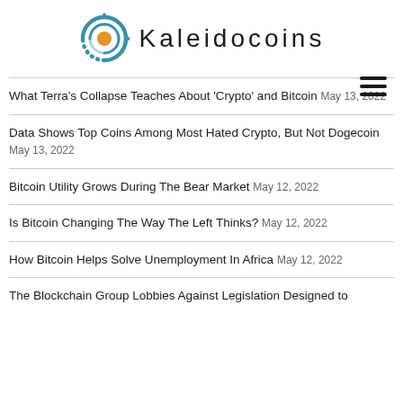[Figure (logo): Kaleidocoins logo with circular swirl icon and brand name in spaced lettering]
What Terra's Collapse Teaches About 'Crypto' and Bitcoin May 13, 2022
Data Shows Top Coins Among Most Hated Crypto, But Not Dogecoin May 13, 2022
Bitcoin Utility Grows During The Bear Market May 12, 2022
Is Bitcoin Changing The Way The Left Thinks? May 12, 2022
How Bitcoin Helps Solve Unemployment In Africa May 12, 2022
The Blockchain Group Lobbies Against Legislation Designed to